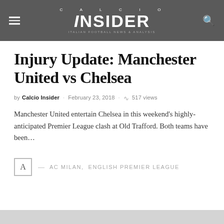CALCIO INSIDER
Injury Update: Manchester United vs Chelsea
by Calcio Insider · February 23, 2018 · 517 views
Manchester United entertain Chelsea in this weekend's highly-anticipated Premier League clash at Old Trafford. Both teams have been…
A — AC MILAN, ENGLISH PREMIER LEAGUE